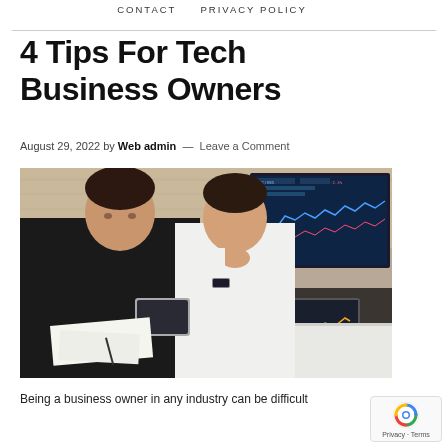CONTACT   PRIVACY POLICY
4 Tips For Tech Business Owners
August 29, 2022 by Web admin — Leave a Comment
[Figure (photo): Two men in business attire sitting at a white table, one in a black shirt and one in a white shirt, reviewing documents and a tablet, with a laptop showing stock/trading charts in the background.]
Being a business owner in any industry can be difficult